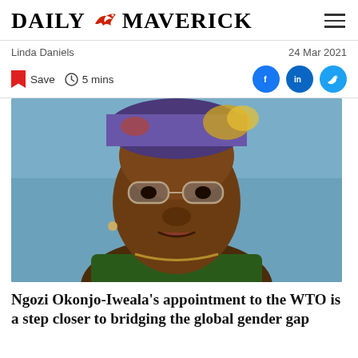DAILY MAVERICK
Linda Daniels   24 Mar 2021
Save  5 mins
[Figure (photo): Close-up photo of Ngozi Okonjo-Iweala wearing glasses and a colorful head wrap against a blue background]
Ngozi Okonjo-Iweala's appointment to the WTO is a step closer to bridging the global gender gap